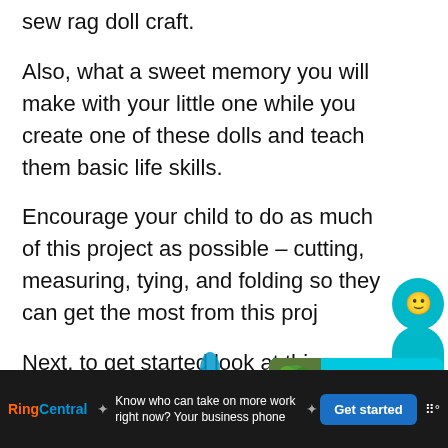sew rag doll craft.
Also, what a sweet memory you will make with your little one while you create one of these dolls and teach them basic life skills.
Encourage your child to do as much of this project as possible – cutting, measuring, tying, and folding so they can get the most from this proj…
Next, to get started look at this easy
Know who can take on more work right now? Your business phone
Get started